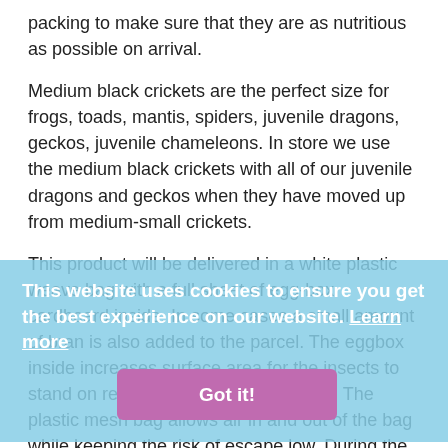packing to make sure that they are as nutritious as possible on arrival.
Medium black crickets are the perfect size for frogs, toads, mantis, spiders, juvenile dragons, geckos, juvenile chameleons. In store we use the medium black crickets with all of our juvenile dragons and geckos when they have moved up from medium-small crickets.
This product will be delivered in a white plastic weave bag with a full sheet of egg-box cardboard inside. In some cases a small amount of bran is also added to the parcel. The eggbox inside increases surface area for the insects to stand on reducing the risk of trampling. The plastic mesh bag allows air in and out of the bag while keeping the risk of escape low. During the summer months the outer cardboard box may also include perforations to keep them cool while in colder months we may include a plain white heatpack.
You'll love them because:
We guarantee freshness or your money back
They are farm bred in ethical conditions.
They are pre-fed to ensure your reptile is getting...
This website uses cookies to ensure you get the best experience on our website. Learn more
Got it!